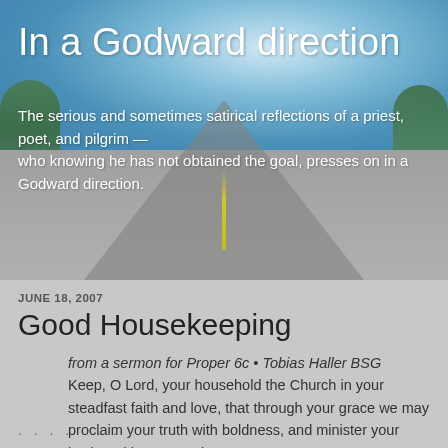[Figure (photo): A blurred photograph of a straight road stretching into the distance with green trees on either side, blue sky with clouds above, and yellow center line markings on the road.]
In a Godward direction
The serious and sometimes satirical reflections of a priest, poet, and pilgrim — who knowing he has not obtained the goal, presses on in a Godward direction.
JUNE 18, 2007
Good Housekeeping
from a sermon for Proper 6c • Tobias Haller BSG Keep, O Lord, your household the Church in your steadfast faith and love, that through your grace we may proclaim your truth with boldness, and minister your justice with compassion.
. . . . . . . .